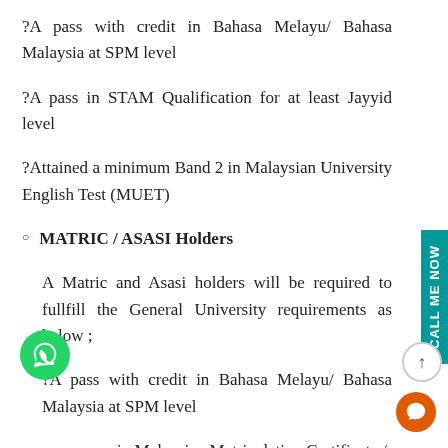?A pass with credit in Bahasa Melayu/ Bahasa Malaysia at SPM level
?A pass in STAM Qualification for at least Jayyid level
?Attained a minimum Band 2 in Malaysian University English Test (MUET)
MATRIC / ASASI Holders
A Matric and Asasi holders will be required to fullfill the General University requirements as below ;
?A pass with credit in Bahasa Melayu/ Bahasa Malaysia at SPM level
?A pass in Malaysian Matriculation Certificate / Foundation with minimum CGPA of 2.00
?Attained a minimum Band 2 in Malaysian